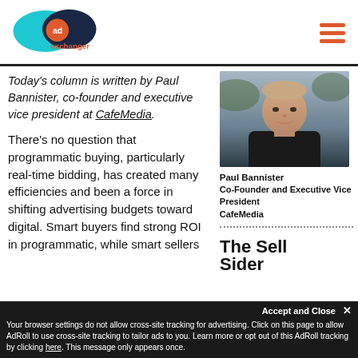[Figure (logo): AdExchanger logo with teal and dark blue overlapping circles, orange 'ad' badge, and orange 'exchanger' text]
Today's column is written by Paul Bannister, co-founder and executive vice president at CafeMedia.
[Figure (photo): Headshot of Paul Bannister, a man in a dark polo shirt, outdoor background]
Paul Bannister
Co-Founder and Executive Vice President
CafeMedia
[Figure (logo): The Sell Sider logo in bold black text]
There's no question that programmatic buying, particularly real-time bidding, has created many efficiencies and been a force in shifting advertising budgets toward digital. Smart buyers find strong ROI in programmatic, while smart sellers
Accept and Close ✕
Your browser settings do not allow cross-site tracking for advertising. Click on this page to allow AdRoll to use cross-site tracking to tailor ads to you. Learn more or opt out of this AdRoll tracking by clicking here. This message only appears once.